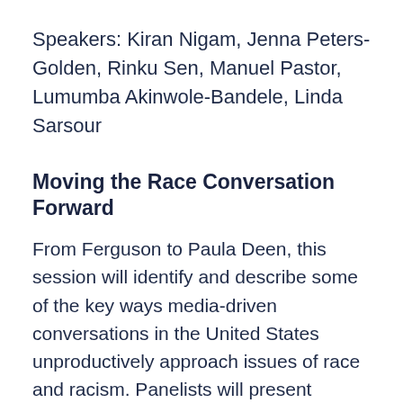Speakers: Kiran Nigam, Jenna Peters-Golden, Rinku Sen, Manuel Pastor, Lumumba Akinwole-Bandele, Linda Sarsour
Moving the Race Conversation Forward
From Ferguson to Paula Deen, this session will identify and describe some of the key ways media-driven conversations in the United States unproductively approach issues of race and racism. Panelists will present research and analysis of recent media coverage, describe some of the